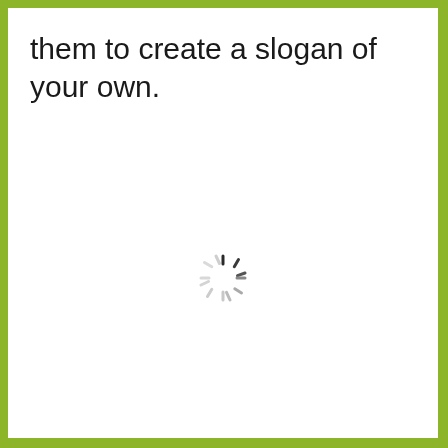them to create a slogan of your own.
[Figure (other): A loading spinner icon (circular spinner with radiating lines in dark and light gray) centered on the page, indicating content is loading.]